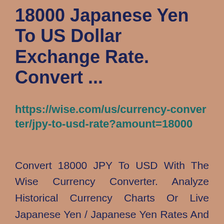18000 Japanese Yen To US Dollar Exchange Rate. Convert ...
https://wise.com/us/currency-converter/jpy-to-usd-rate?amount=18000
Convert 18000 JPY To USD With The Wise Currency Converter. Analyze Historical Currency Charts Or Live Japanese Yen / Japanese Yen Rates And Get Free Rate ...